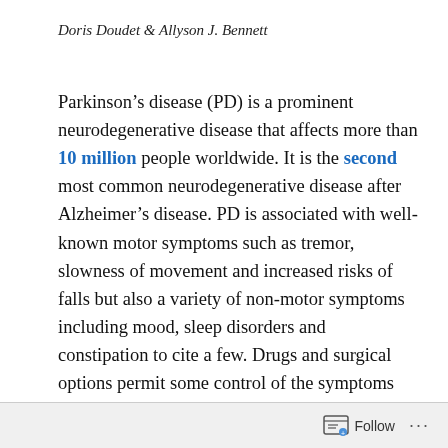Doris Doudet & Allyson J. Bennett
Parkinson's disease (PD) is a prominent neurodegenerative disease that affects more than 10 million people worldwide. It is the second most common neurodegenerative disease after Alzheimer's disease. PD is associated with well-known motor symptoms such as tremor, slowness of movement and increased risks of falls but also a variety of non-motor symptoms including mood, sleep disorders and constipation to cite a few. Drugs and surgical options permit some control of the symptoms but are not a cure and the disease progression and cell death continue. Risk of developing PD increases with aging. A minority of younger cases, however, have been linked to genetic predisposition. One of the linked genes is the
Follow ...